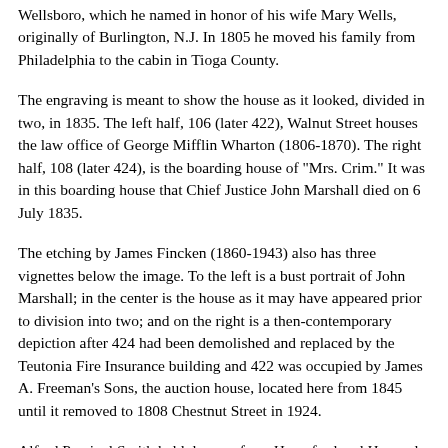Wellsboro, which he named in honor of his wife Mary Wells, originally of Burlington, N.J. In 1805 he moved his family from Philadelphia to the cabin in Tioga County.
The engraving is meant to show the house as it looked, divided in two, in 1835. The left half, 106 (later 422), Walnut Street houses the law office of George Mifflin Wharton (1806-1870). The right half, 108 (later 424), is the boarding house of "Mrs. Crim." It was in this boarding house that Chief Justice John Marshall died on 6 July 1835.
The etching by James Fincken (1860-1943) also has three vignettes below the image. To the left is a bust portrait of John Marshall; in the center is the house as it may have appeared prior to division into two; and on the right is a then-contemporary depiction after 424 had been demolished and replaced by the Teutonia Fire Insurance building and 422 was occupied by James A. Freeman's Sons, the auction house, located here from 1845 until it removed to 1808 Chestnut Street in 1924.
Alfred Percival Smith held degrees from Haverford and Harvard Colleges and a law degree from the University of Pennsylvania. He was a lawyer, a member and honorary curator of the Presbyterian Historical Society, and a member of the City Print Club and the Pennsylvania Academy of the